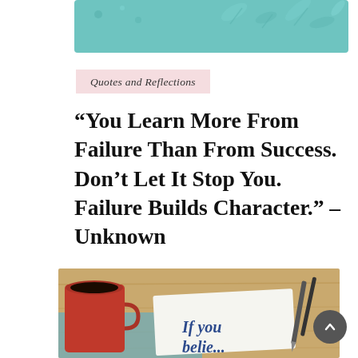[Figure (illustration): Teal/mint decorative banner with floral/leaf pattern at top]
Quotes and Reflections
“You Learn More From Failure Than From Success. Don’t Let It Stop You. Failure Builds Character.” – Unknown
[Figure (photo): Photo of a coffee cup and a napkin with text 'If you believe...' alongside a pen on a wooden surface]